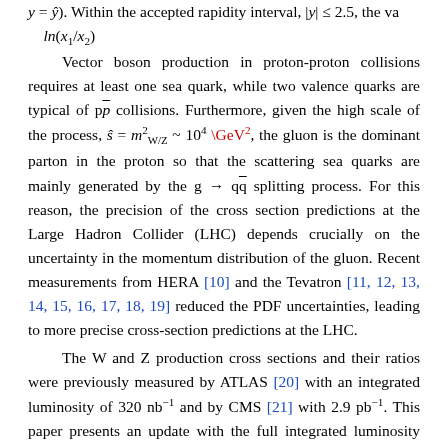y = ŷ). Within the accepted rapidity interval, |y| ≤ 2.5, the value ln(x1/x2). Vector boson production in proton-proton collisions requires at least one sea quark, while two valence quarks are typical of pp̄ collisions. Furthermore, given the high scale of the process, ŝ = m²W/Z ~ 10⁴ GeV², the gluon is the dominant parton in the proton so that the scattering sea quarks are mainly generated by the g → qq̄ splitting process. For this reason, the precision of the cross section predictions at the Large Hadron Collider (LHC) depends crucially on the uncertainty in the momentum distribution of the gluon. Recent measurements from HERA [10] and the Tevatron [11, 12, 13, 14, 15, 16, 17, 18, 19] reduced the PDF uncertainties, leading to more precise cross-section predictions at the LHC.
The W and Z production cross sections and their ratios were previously measured by ATLAS [20] with an integrated luminosity of 320 nb⁻¹ and by CMS [21] with 2.9 pb⁻¹. This paper presents an update with the full integrated luminosity recorded by CMS at the LHC in